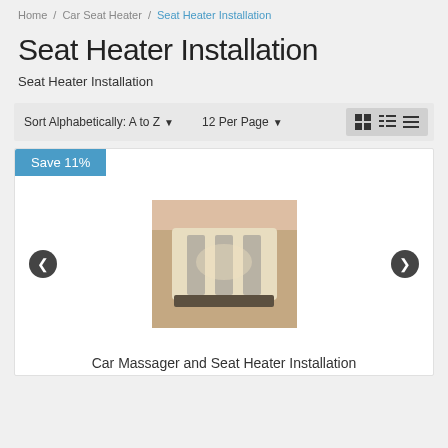Home / Car Seat Heater / Seat Heater Installation
Seat Heater Installation
Seat Heater Installation
Sort Alphabetically: A to Z ▼   12 Per Page ▼
[Figure (screenshot): Product card with Save 11% badge, carousel navigation arrows, product photo of car massager seat heater installation, and product title 'Car Massager and Seat Heater Installation']
Car Massager and Seat Heater Installation